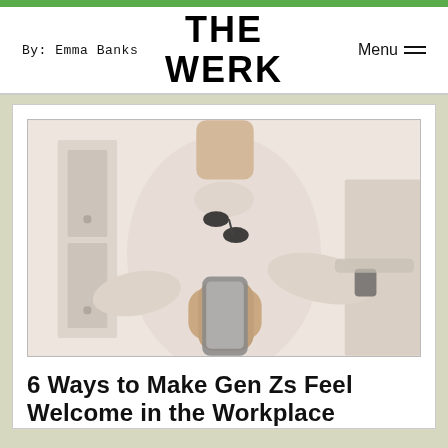By: Emma Banks | THE WERK | Menu
[Figure (photo): A person in a light-colored short-sleeve top with sunglasses tucked at the collar, holding and looking at a smartphone in an office or hallway setting. Photo has a soft, slightly washed-out tone.]
6 Ways to Make Gen Zs Feel Welcome in the Workplace